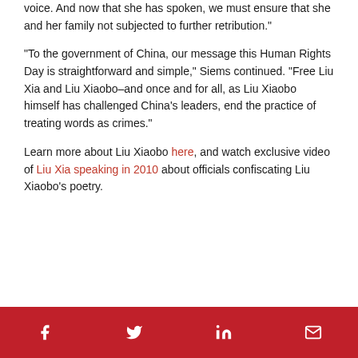voice. And now that she has spoken, we must ensure that she and her family not subjected to further retribution."
“To the government of China, our message this Human Rights Day is straightforward and simple,” Siems continued. “Free Liu Xia and Liu Xiaobo–and once and for all, as Liu Xiaobo himself has challenged China’s leaders, end the practice of treating words as crimes.”
Learn more about Liu Xiaobo here, and watch exclusive video of Liu Xia speaking in 2010 about officials confiscating Liu Xiaobo’s poetry.
Social share icons: Facebook, Twitter, LinkedIn, Email